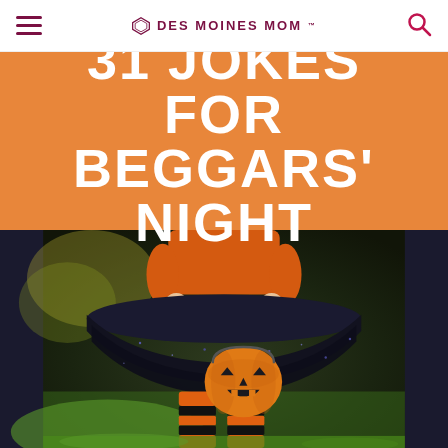Des Moines Mom
31 JOKES FOR BEGGARS' NIGHT
[Figure (photo): Child dressed in a Halloween witch costume with orange long-sleeve shirt and black sparkly tutu skirt, wearing orange and black striped socks, holding an orange plastic jack-o-lantern trick-or-treat bucket. Outdoor background with blurred green foliage.]